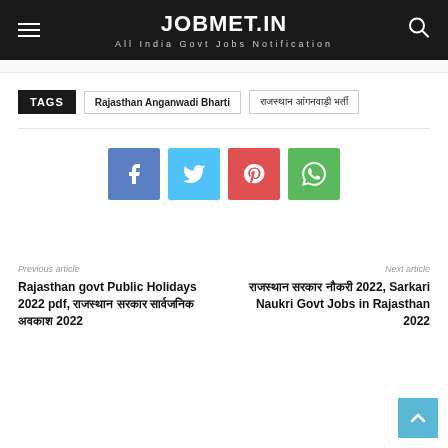JOBMET.IN — All India Govt Jobs Notification
TAGS: Rajasthan Anganwadi Bharti | राजस्थान आंगनवाड़ी भर्ती
[Figure (infographic): Social share buttons: Facebook (blue), Twitter (light blue), Pinterest (red), WhatsApp (green)]
Previous article: Rajasthan govt Public Holidays 2022 pdf, राजस्थान सरकार सार्वजनिक अवकाश 2022
Next article: राजस्थान सरकार नौकरी 2022, Sarkari Naukri Govt Jobs in Rajasthan 2022